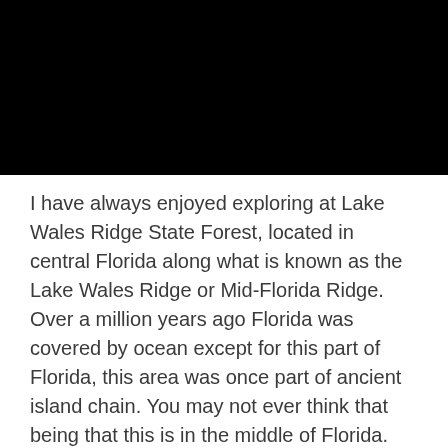[Figure (photo): Black rectangle representing a photograph (obscured/redacted image at top of page)]
I have always enjoyed exploring at Lake Wales Ridge State Forest, located in central Florida along what is known as the Lake Wales Ridge or Mid-Florida Ridge. Over a million years ago Florida was covered by ocean except for this part of Florida, this area was once part of ancient island chain. You may not ever think that being that this is in the middle of Florida.
I have been enjoying learning about the history here as well, in the early 1900’s some areas here were used for cattle ranching. Some of the evidence from the past there are these cattle vats. The cattle would be loaded into the dipping vats which was filled with an arsenic